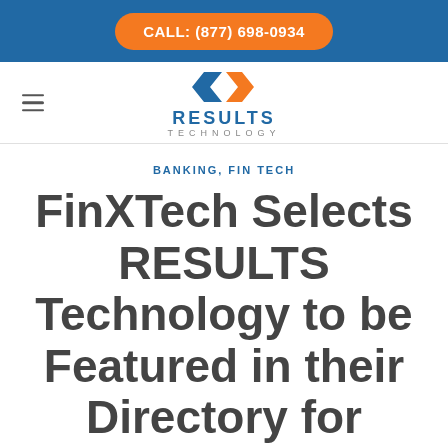CALL: (877) 698-0934
[Figure (logo): Results Technology logo with stylized R icon in blue and orange, company name RESULTS TECHNOLOGY below]
BANKING, FIN TECH
FinXTech Selects RESULTS Technology to be Featured in their Directory for Banks